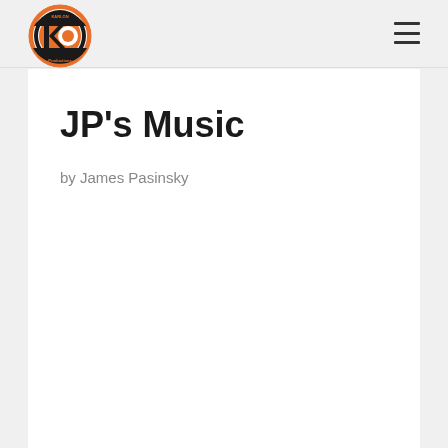[Figure (logo): Kari-On Productions circular logo with orange and black KO design]
JP's Music
by James Pasinsky